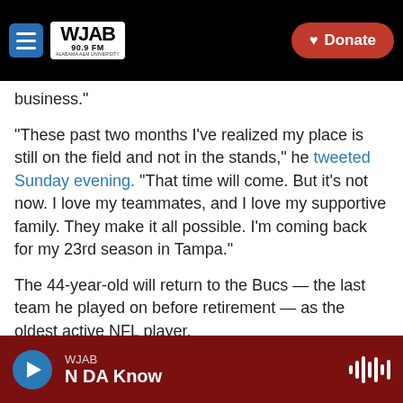WJAB 90.9 FM | Donate
business."
"These past two months I've realized my place is still on the field and not in the stands," he tweeted Sunday evening. "That time will come. But it's not now. I love my teammates, and I love my supportive family. They make it all possible. I'm coming back for my 23rd season in Tampa."
The 44-year-old will return to the Bucs — the last team he played on before retirement — as the oldest active NFL player.
Brady officially announced his retirement on Feb. 1
WJAB | N DA Know